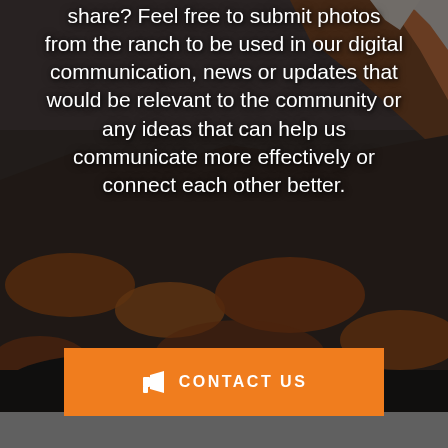[Figure (photo): Rocky mountain landscape with orange-tinted rocks and snow-capped peaks, overlaid with a dark semi-transparent filter]
share? Feel free to submit photos from the ranch to be used in our digital communication, news or updates that would be relevant to the community or any ideas that can help us communicate more effectively or connect each other better.
CONTACT US